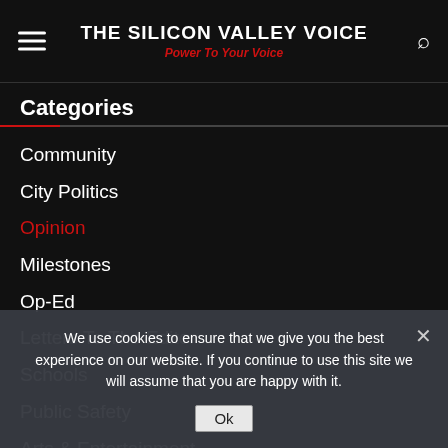THE SILICON VALLEY VOICE — Power To Your Voice
Categories
Community
City Politics
Opinion
Milestones
Op-Ed
Letters To The Editor
Schools
Public Safety
Arts & Entertainment
We use cookies to ensure that we give you the best experience on our website. If you continue to use this site we will assume that you are happy with it.